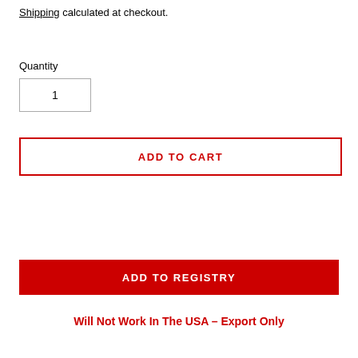Shipping calculated at checkout.
Quantity
1
ADD TO CART
ADD TO REGISTRY
Will Not Work In The USA – Export Only